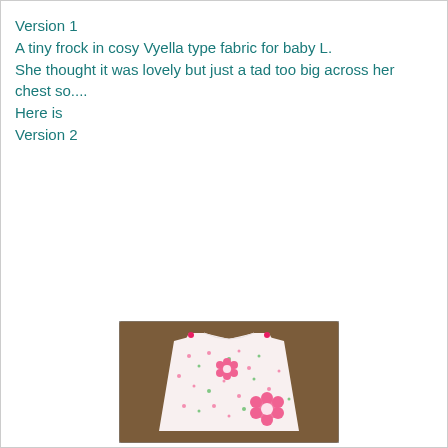Version 1
A tiny frock in cosy Vyella type fabric for baby L.
She thought it was lovely but just a tad too big across her chest so....
Here is
Version 2
[Figure (photo): A baby/toddler pinafore dress made from white floral fabric with small pink and green flowers, with pink flower appliques, laid flat on a brown surface.]